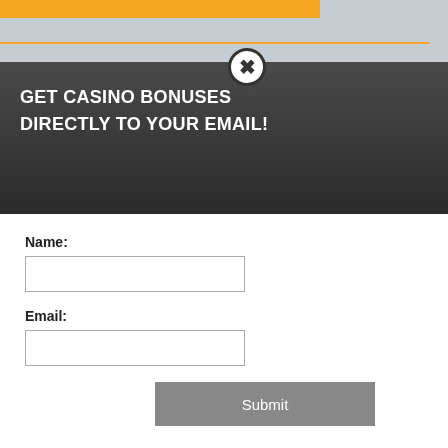[Figure (screenshot): Casino bonus website page partially visible behind a modal popup. Shows orange bar, orange horizontal line, partial title text 'ES $100 FREE CHIP NO', partial body text about free chip for new accounts, a black cookie notice box with text about experience, cookie and privacy policy, and a yellow button.]
GET CASINO BONUSES
DIRECTLY TO YOUR EMAIL!
Name:
Email:
Submit
By subscribing you are certifying that you have reviewed and accepted our updated Privacy and Cookie policy.